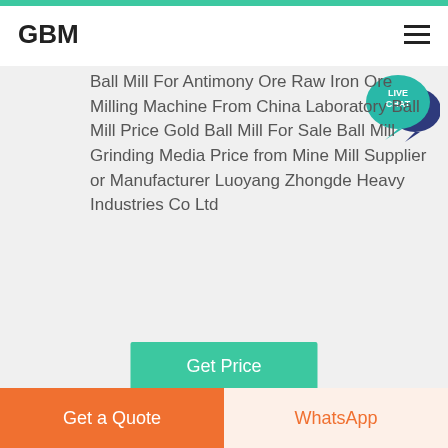GBM
Ball Mill For Antimony Ore Raw Iron Ore Milling Machine From China Laboratory Ball Mill Price Gold Ball Mill For Sale Ball Mill Grinding Media Price from Mine Mill Supplier or Manufacturer Luoyang Zhongde Heavy Industries Co Ltd
Get Price
[Figure (photo): Industrial ball mill or crushing equipment, reddish-brown heavy machinery.]
antimony ore ball mill antimony ore ball mill Suppliers
Get a Quote  WhatsApp